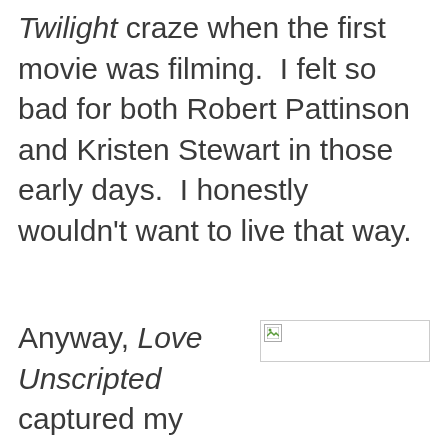Twilight craze when the first movie was filming.  I felt so bad for both Robert Pattinson and Kristen Stewart in those early days.  I honestly wouldn't want to live that way.
Anyway, Love Unscripted captured my attention pretty early on.
[Figure (other): A broken/placeholder image icon in a small bordered rectangle]